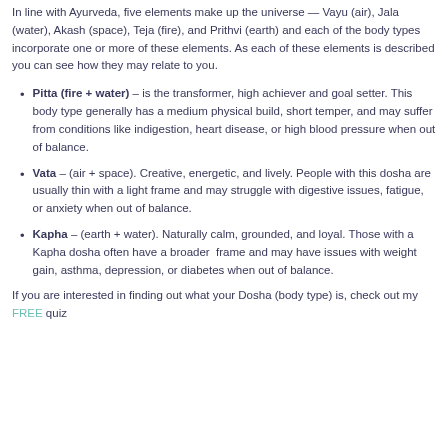In line with Ayurveda, five elements make up the universe — Vayu (air), Jala (water), Akash (space), Teja (fire), and Prithvi (earth) and each of the body types incorporate one or more of these elements. As each of these elements is described you can see how they may relate to you.
Pitta (fire + water) – is the transformer, high achiever and goal setter. This body type generally has a medium physical build, short temper, and may suffer from conditions like indigestion, heart disease, or high blood pressure when out of balance.
Vata – (air + space). Creative, energetic, and lively. People with this dosha are usually thin with a light frame and may struggle with digestive issues, fatigue, or anxiety when out of balance.
Kapha – (earth + water). Naturally calm, grounded, and loyal. Those with a Kapha dosha often have a broader frame and may have issues with weight gain, asthma, depression, or diabetes when out of balance.
If you are interested in finding out what your Dosha (body type) is, check out my FREE quiz